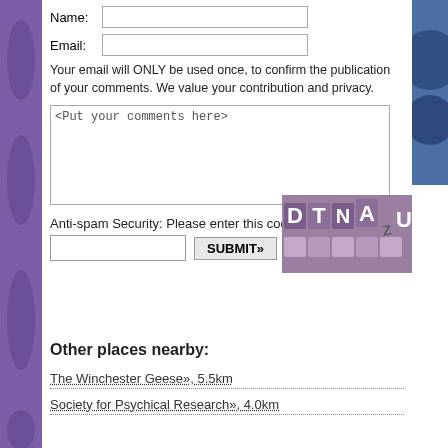Name: [input] Email: [input]
Your email will ONLY be used once, to confirm the publication of your comments. We value your contribution and privacy.
<Put your comments here>
Anti-spam Security: Please enter this code:
[Figure (photo): CAPTCHA security image showing letters D T N A z U on colored tiles]
[input field] SUBMIT»
Other places nearby:
The Winchester Geese», 5.5km
Society for Psychical Research», 4.0km